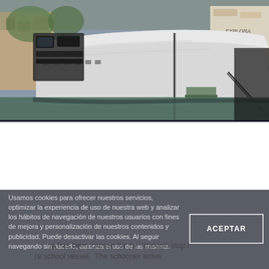[Figure (photo): Large luxury motor yacht moored at a marina dock, viewed from the stern. The vessel has a sleek white hull with reflective surfaces. Other yachts visible in background including one labeled EXPLORA. Water visible below the hull.]
Usamos cookies para ofrecer nuestros servicios, optimizar la experiencia de uso de nuestra web y analizar los hábitos de navegación de nuestros usuarios con fines de mejora y personalización de nuestros contenidos y publicidad. Puede desactivar las cookies. Al seguir navegando sin hacerlo, autoriza el uso de las mismas.
ACEPTAR
... Marina Palma Quarantina has been chosen for the strategic stop i... ra school vessel. The schooner arrive...